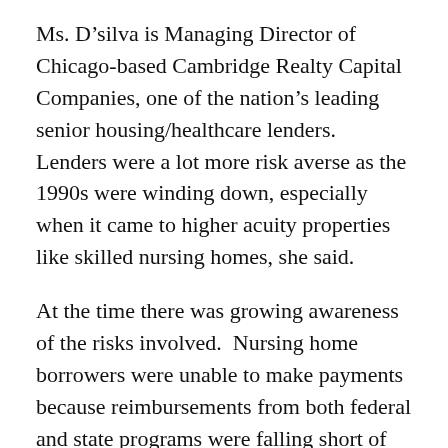Ms. D'silva is Managing Director of Chicago-based Cambridge Realty Capital Companies, one of the nation's leading senior housing/healthcare lenders. Lenders were a lot more risk averse as the 1990s were winding down, especially when it came to higher acuity properties like skilled nursing homes, she said.
At the time there was growing awareness of the risks involved.  Nursing home borrowers were unable to make payments because reimbursements from both federal and state programs were falling short of expectations.
With assisted living and other types of senior products, there was the issue of over-saturation in the market, which made it more difficult for properties to stabilize.
“As a result, many lenders didn’t know how to analyze